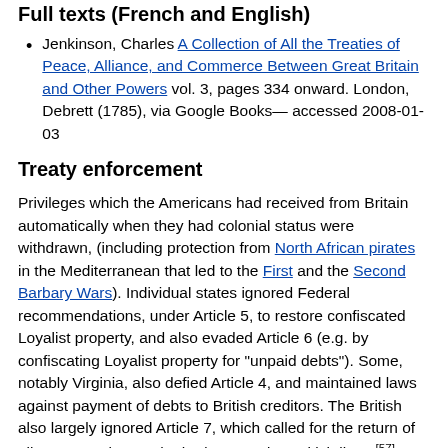Full texts (French and English)
Jenkinson, Charles A Collection of All the Treaties of Peace, Alliance, and Commerce Between Great Britain and Other Powers vol. 3, pages 334 onward. London, Debrett (1785), via Google Books— accessed 2008-01-03
Treaty enforcement
Privileges which the Americans had received from Britain automatically when they had colonial status were withdrawn, (including protection from North African pirates in the Mediterranean that led to the First and the Second Barbary Wars). Individual states ignored Federal recommendations, under Article 5, to restore confiscated Loyalist property, and also evaded Article 6 (e.g. by confiscating Loyalist property for "unpaid debts"). Some, notably Virginia, also defied Article 4, and maintained laws against payment of debts to British creditors. The British also largely ignored Article 7, which called for the return of all runaway slaves who had escaped to British lines.[57]
The real geography of North America turned out not to match the details, given in the Canadian boundary descriptions. The Treaty specified a southern boundary for the United States, but the separate Anglo-Spanish agreement did not specify a northern